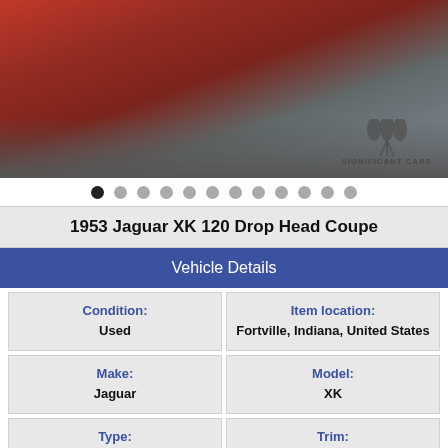[Figure (photo): Front view of a red 1953 Jaguar XK 120 Drop Head Coupe classic car on a road with watermark 'Significant Cars' logo in bottom right]
● ● ● ● ● ● ● ● ● ● ● ● (image carousel dots, first active)
1953 Jaguar XK 120 Drop Head Coupe
Vehicle Details
| Condition: | Item location: |
| --- | --- |
| Used | Fortville, Indiana, United States |
| Make: | Model: |
| Jaguar | XK |
| Type: | Trim: |
| Convertible | 120 Drop Head Coupe |